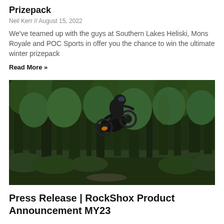Prizepack
Neil Kerr // August 15, 2022
We've teamed up with the guys at Southern Lakes Heliski, Mons Royale and POC Sports in offer you the chance to win the ultimate winter prizepack
Read More »
[Figure (photo): A mountain biker performing a jump or trick in mid-air in a dense green forest setting. The rider is airborne with the bike angled, surrounded by tall trees with lush green foliage.]
Press Release | RockShox Product Announcement MY23